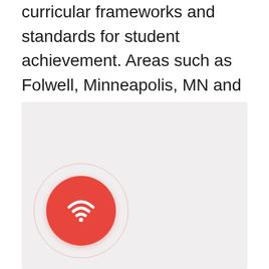curricular frameworks and standards for student achievement. Areas such as Folwell, Minneapolis, MN and Willard Hay, Minneapolis, MN are also shown. Is it systemic and continuous. Manage Milestone Fixed Camera placement with Precinct Inspectors, Crime Analysts, and City IT.
[Figure (other): Light gray rectangular area with a red circular wifi/signal icon button in the lower left corner. The button has an outer ring border and an inner red circle with a white wifi symbol.]